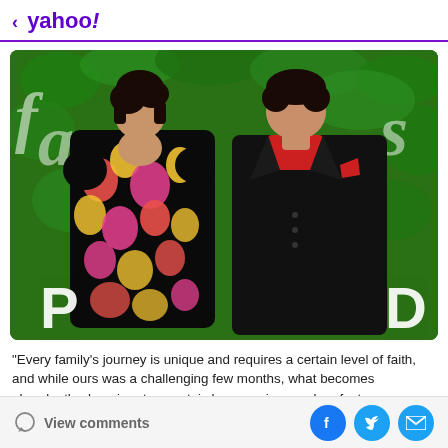< yahoo!
[Figure (photo): A woman in a colorful floral dress and a man in a black suit posing together in front of a green leafy background with white scripted text and letters P and D visible.]
"Every family's journey is unique and requires a certain level of faith, and while ours was a challenging few months, what becomes abundantly clear, in retrospect, is how precious and perfect every
More
View comments